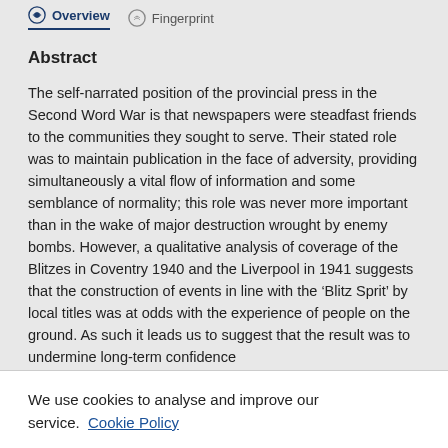Overview  Fingerprint
Abstract
The self-narrated position of the provincial press in the Second Word War is that newspapers were steadfast friends to the communities they sought to serve. Their stated role was to maintain publication in the face of adversity, providing simultaneously a vital flow of information and some semblance of normality; this role was never more important than in the wake of major destruction wrought by enemy bombs. However, a qualitative analysis of coverage of the Blitzes in Coventry 1940 and the Liverpool in 1941 suggests that the construction of events in line with the ‘Blitz Sprit’ by local titles was at odds with the experience of people on the ground. As such it leads us to suggest that the result was to undermine long-term confidence
We use cookies to analyse and improve our service. Cookie Policy